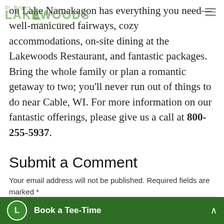[Figure (logo): Lakewoods logo with green text: top line 'Dr. Rogers', main line 'LAKEWOODS', subtitle 'CABLE, WI' with tree/pine icon and stars]
on Lake Namakagon has everything you need—well-manicured fairways, cozy accommodations, on-site dining at the Lakewoods Restaurant, and fantastic packages. Bring the whole family or plan a romantic getaway to two; you'll never run out of things to do near Cable, WI. For more information on our fantastic offerings, please give us a call at 800-255-5937.
Submit a Comment
Your email address will not be published. Required fields are marked *
Comment *
Book a Tee-Time